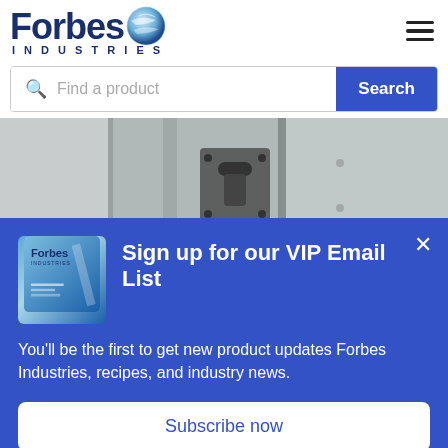[Figure (logo): Forbes Industries logo with globe icon and INDUSTRIES text below]
Find a product
Search
[Figure (photo): Close-up photo of a metal latch/lock mechanism on industrial equipment panels]
Sign up for our VIP Email List
You'll be the first to get new product updates Forbes Industries, recipes, and industry news.
Subscribe now